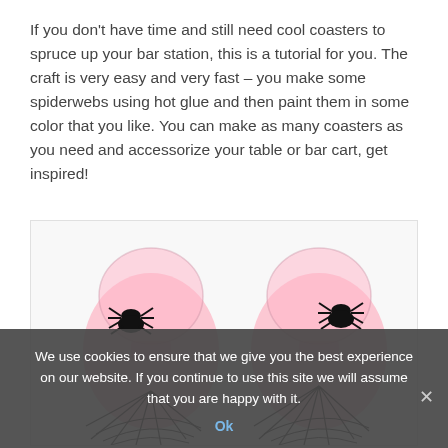If you don't have time and still need cool coasters to spruce up your bar station, this is a tutorial for you. The craft is very easy and very fast – you make some spiderwebs using hot glue and then paint them in some color that you like. You can make as many coasters as you need and accessorize your table or bar cart, get inspired!
[Figure (photo): Two pink drinking glasses sitting on black spiderweb coasters, each with a black plastic spider on the side, photographed on a white background.]
We use cookies to ensure that we give you the best experience on our website. If you continue to use this site we will assume that you are happy with it. Ok